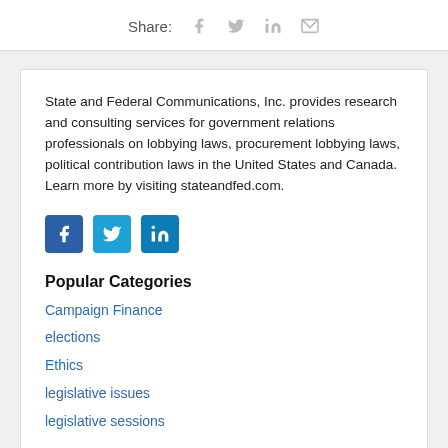Share:
State and Federal Communications, Inc. provides research and consulting services for government relations professionals on lobbying laws, procurement lobbying laws, political contribution laws in the United States and Canada. Learn more by visiting stateandfed.com.
Popular Categories
Campaign Finance
elections
Ethics
legislative issues
legislative sessions